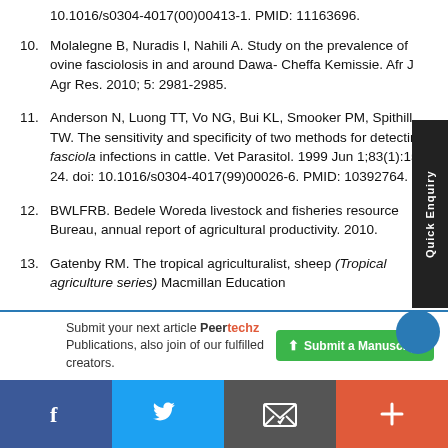10. Molalegne B, Nuradis I, Nahili A. Study on the prevalence of ovine fasciolosis in and around Dawa- Cheffa Kemissie. Afr J Agr Res. 2010; 5: 2981-2985.
11. Anderson N, Luong TT, Vo NG, Bui KL, Smooker PM, Spithill TW. The sensitivity and specificity of two methods for detecting fasciola infections in cattle. Vet Parasitol. 1999 Jun 1;83(1):15-24. doi: 10.1016/s0304-4017(99)00026-6. PMID: 10392764.
12. BWLFRB. Bedele Woreda livestock and fisheries resource Bureau, annual report of agricultural productivity. 2010.
13. Gatenby RM. The tropical agriculturalist, sheep (Tropical agriculture series) Macmillan Education
Submit your next article Peertechz Publications, also join of our fulfilled creators.